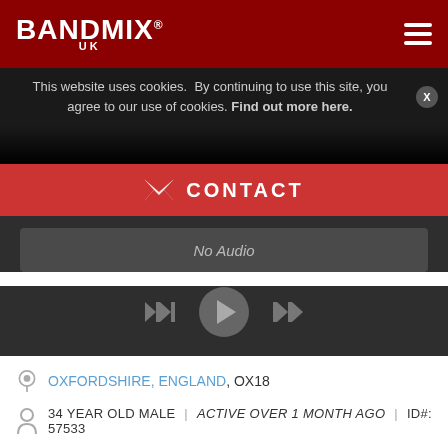BANDMIX® UK
This website uses cookies. By continuing to use this site, you agree to our use of cookies. Find out more here.
[Figure (photo): Dark background photo strip showing a musician]
✉ CONTACT
No Audio
[Figure (infographic): Audio player controls: skip back, play, skip forward]
OXFORDSHIRE, ENGLAND, OX18
34 YEAR OLD MALE | ACTIVE OVER 1 MONTH AGO | ID#: 57533
MUSICIAN | ACOUSTIC, COUNTRY